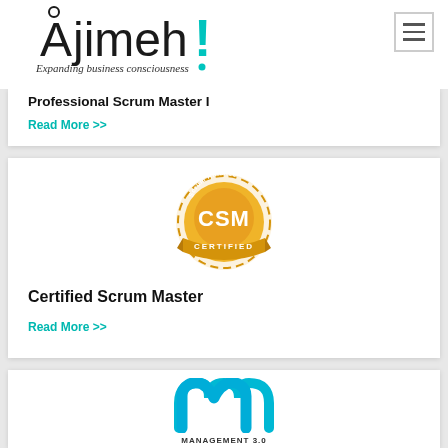[Figure (logo): Ajimeh logo with teal exclamation mark and tagline 'Expanding business consciousness']
Professional Scrum Master I
Read More >>
[Figure (logo): CSM Certified badge - Scrum Alliance gold seal]
Certified Scrum Master
Read More >>
[Figure (logo): Management 3.0 teal 'm' logo]